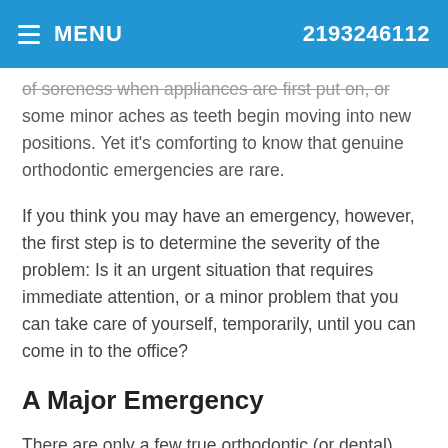MENU   2193246112
of soreness when appliances are first put on, or some minor aches as teeth begin moving into new positions. Yet it's comforting to know that genuine orthodontic emergencies are rare.
If you think you may have an emergency, however, the first step is to determine the severity of the problem: Is it an urgent situation that requires immediate attention, or a minor problem that you can take care of yourself, temporarily, until you can come in to the office?
A Major Emergency
There are only a few true orthodontic (or dental) emergencies. They include: